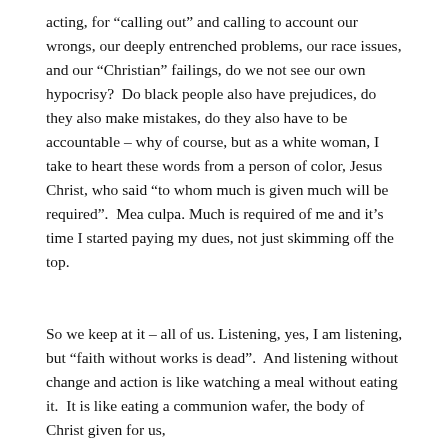acting, for “calling out” and calling to account our wrongs, our deeply entrenched problems, our race issues, and our “Christian” failings, do we not see our own hypocrisy?  Do black people also have prejudices, do they also make mistakes, do they also have to be accountable – why of course, but as a white woman, I take to heart these words from a person of color, Jesus Christ, who said “to whom much is given much will be required”.  Mea culpa.  Much is required of me and it’s time I started paying my dues, not just skimming off the top.
So we keep at it – all of us. Listening, yes, I am listening, but “faith without works is dead”.  And listening without change and action is like watching a meal without eating it.  It is like eating a communion wafer, the body of Christ given for us,